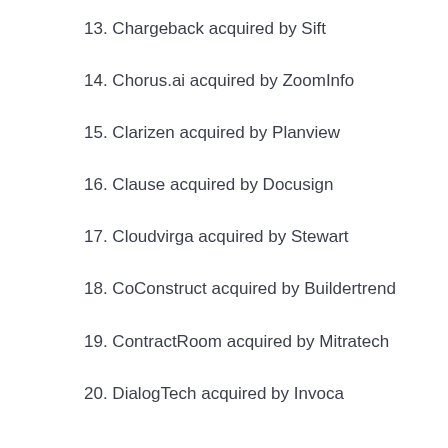13. Chargeback acquired by Sift
14. Chorus.ai acquired by ZoomInfo
15. Clarizen acquired by Planview
16. Clause acquired by Docusign
17. Cloudvirga acquired by Stewart
18. CoConstruct acquired by Buildertrend
19. ContractRoom acquired by Mitratech
20. DialogTech acquired by Invoca